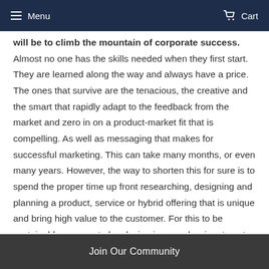Menu   Cart
will be to climb the mountain of corporate success. Almost no one has the skills needed when they first start. They are learned along the way and always have a price. The ones that survive are the tenacious, the creative and the smart that rapidly adapt to the feedback from the market and zero in on a product-market fit that is compelling. As well as messaging that makes for successful marketing. This can take many months, or even many years. However, the way to shorten this for sure is to spend the proper time up front researching, designing and planning a product, service or hybrid offering that is unique and bring high value to the customer. For this to be sustainable you must also design in some barriers to entry, which means “Sustainable Competitive Advantage”. There are literally hundreds of ways to do this and hundreds of potential niches for any product or service in general. The
Join Our Community